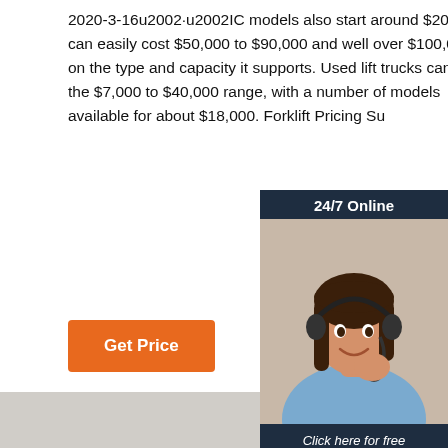2020-3-16u2002·u2002IC models also start around $20,000 (new) but can easily cost $50,000 to $90,000 and well over $100,000 depending on the type and capacity it supports. Used lift trucks can be found in the $7,000 to $40,000 range, with a number of models available for about $18,000. Forklift Pricing Su...
[Figure (other): 24/7 Online support chat widget with a photo of a woman wearing a headset, a 'Click here for free chat!' call to action, and an orange QUOTATION button.]
[Figure (other): 3D illustration of a cabinet/locker unit with dimensions labeled in red (300mm, etc.) on a light gray background.]
Get Price